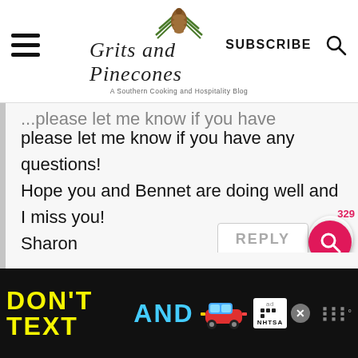Grits and Pinecones — A Southern Cooking and Hospitality Blog
please let me know if you have any questions!
Hope you and Bennet are doing well and I miss you!
Sharon
[Figure (screenshot): REPLY button with 329 heart likes]
[Figure (screenshot): Floating pink search button]
[Figure (infographic): Ad banner: DON'T TEXT AND [car emoji] ad logo NHTSA close button]